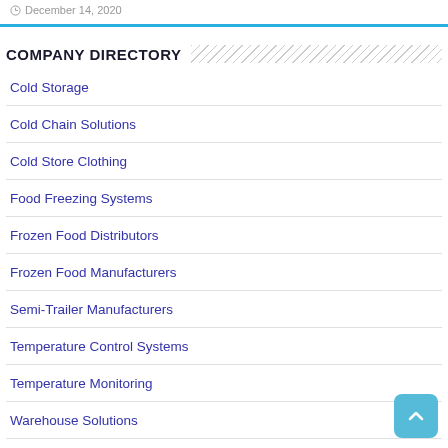December 14, 2020
COMPANY DIRECTORY
Cold Storage
Cold Chain Solutions
Cold Store Clothing
Food Freezing Systems
Frozen Food Distributors
Frozen Food Manufacturers
Semi-Trailer Manufacturers
Temperature Control Systems
Temperature Monitoring
Warehouse Solutions